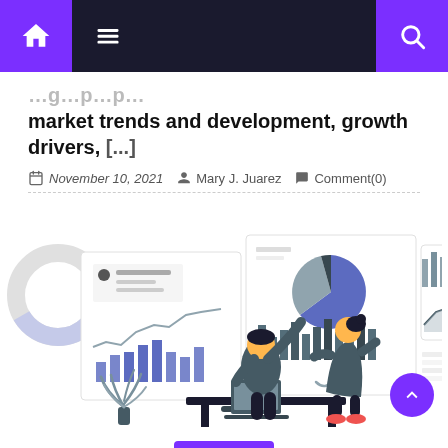Navigation bar with home, menu, and search icons
market trends and development, growth drivers, [...]
November 10, 2021  Mary J. Juarez  Comment(0)
[Figure (illustration): Flat design illustration of two business people analyzing data charts and graphs on large presentation boards. One person sits at a desk with a laptop pointing at charts, the other stands viewing a chart. Various charts visible including pie charts, bar charts, and line charts. A plant is in the lower left corner.]